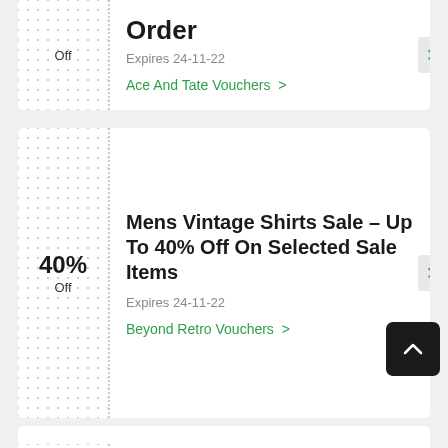Off
Order
Expires 24-11-22
Ace And Tate Vouchers >
40% Off
Mens Vintage Shirts Sale – Up To 40% Off On Selected Sale Items
Expires 24-11-22
Beyond Retro Vouchers >
$8
8.60 $ OFF Deal $8.60 Off Music Room Promo Code